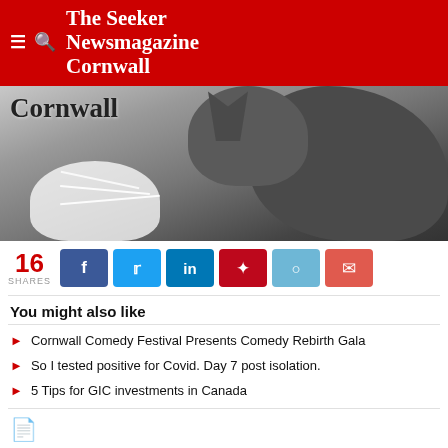The Seeker Newsmagazine Cornwall
[Figure (photo): Close-up photo of a cat with whiskers visible, black and white tones, with text overlay reading 'Cornwall']
16 SHARES
You might also like
Cornwall Comedy Festival Presents Comedy Rebirth Gala
So I tested positive for Covid. Day 7 post isolation.
5 Tips for GIC investments in Canada